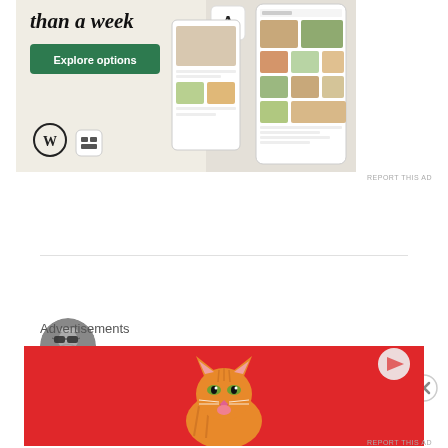[Figure (screenshot): WordPress.com advertisement banner with beige background. Text reads 'than a week' in large italic serif font. Green 'Explore options' button. WordPress logo bottom left. App mockup screens showing food/recipe content on right side. Small 'A' icon card visible.]
REPORT THIS AD
[Figure (photo): Black and white circular avatar photo of a bearded man wearing sunglasses]
Michael Mazer · August 16, 2021
Advertisements
[Figure (photo): Red advertisement banner featuring an orange tabby cat licking its lips, with a circular play button icon in top right corner]
REPORT THIS AD